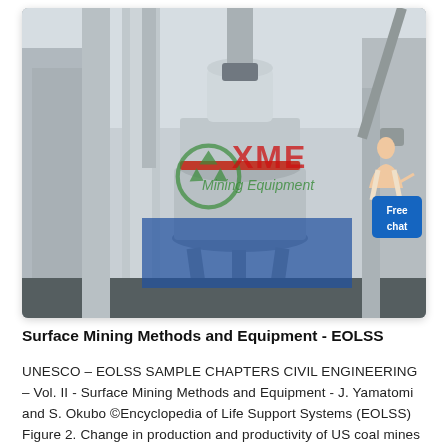[Figure (photo): Photograph of industrial mining/milling equipment (likely a Raymond mill or similar grinding machine) in an outdoor industrial yard. Large grey cylindrical structures, pipes, and columns visible. XME Mining Equipment watermark overlaid in green/red. A 'Free chat' badge with a female figure icon appears in the upper right of the image.]
Surface Mining Methods and Equipment - EOLSS
UNESCO – EOLSS SAMPLE CHAPTERS CIVIL ENGINEERING – Vol. II - Surface Mining Methods and Equipment - J. Yamatomi and S. Okubo ©Encyclopedia of Life Support Systems (EOLSS) Figure 2. Change in production and productivity of US coal mines The